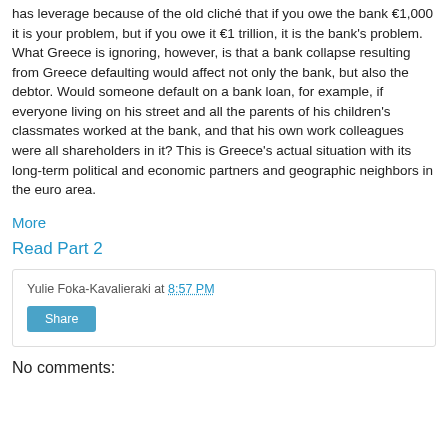has leverage because of the old cliché that if you owe the bank €1,000 it is your problem, but if you owe it €1 trillion, it is the bank's problem. What Greece is ignoring, however, is that a bank collapse resulting from Greece defaulting would affect not only the bank, but also the debtor. Would someone default on a bank loan, for example, if everyone living on his street and all the parents of his children's classmates worked at the bank, and that his own work colleagues were all shareholders in it? This is Greece's actual situation with its long-term political and economic partners and geographic neighbors in the euro area.
More
Read Part 2
Yulie Foka-Kavalieraki at 8:57 PM
Share
No comments: